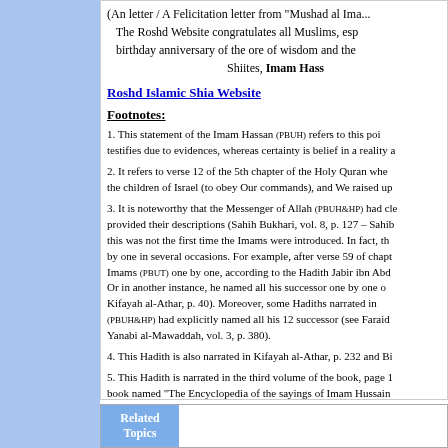The Roshd Website congratulates all Muslims, esp... birthday anniversary of the ore of wisdom and the... Shiites, Imam Hass...
Roshd Islamic Shia Website
Footnotes:
1. This statement of the Imam Hassan (PBUH) refers to this poi... testifies due to evidences, whereas certainty is belief in a reality a...
2. It refers to verse 12 of the 5th chapter of the Holy Quran whe... the children of Israel (to obey Our commands), and We raised up...
3. It is noteworthy that the Messenger of Allah (PBUH&HP) had cle... provided their descriptions (Sahih Bukhari, vol. 8, p. 127 – Sahib... this was not the first time the Imams were introduced. In fact, th... by one in several occasions. For example, after verse 59 of chapt... Imams (PBUT) one by one, according to the Hadith Jabir ibn Abd... Or in another instance, he named all his successor one by one o... Kifayah al-Athar, p. 40). Moreover, some Hadiths narrated in... (PBUH&HP) had explicitly named all his 12 successor (see Faraid... Yanabi al-Mawaddah, vol. 3, p. 380).
4. This Hadith is also narrated in Kifayah al-Athar, p. 232 and Bi...
5. This Hadith is narrated in the third volume of the book, page 1... book named "The Encyclopedia of the sayings of Imam Hussain...
Related Topics
Ba...